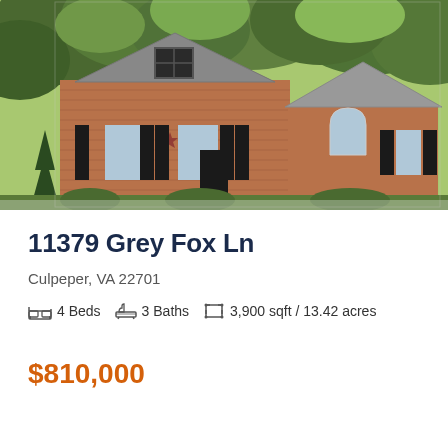[Figure (photo): Exterior photo of a brick single-family home with black shutters, peaked roof gables, arched window on right wing, surrounded by mature trees]
11379 Grey Fox Ln
Culpeper, VA 22701
4 Beds   3 Baths   3,900 sqft / 13.42 acres
$810,000